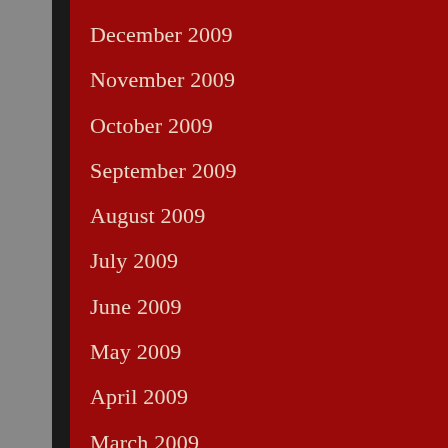December 2009
November 2009
October 2009
September 2009
August 2009
July 2009
June 2009
May 2009
April 2009
March 2009
February 2009
January 2009
December 2008